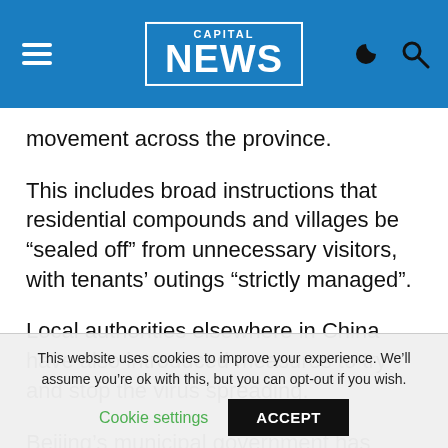Capital NEWS
movement across the province.
This includes broad instructions that residential compounds and villages be “sealed off” from unnecessary visitors, with tenants’ outings “strictly managed”.
Local authorities elsewhere in China have also introduced measures to try and stop the virus spreading.
Beijing’s municipal government has enacted a rule requiring people coming to the capital to self-quarantine for 14 days, according to official media.
This website uses cookies to improve your experience. We’ll assume you’re ok with this, but you can opt-out if you wish.